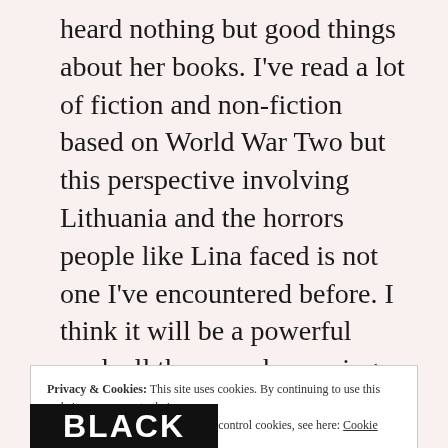heard nothing but good things about her books. I've read a lot of fiction and non-fiction based on World War Two but this perspective involving Lithuania and the horrors people like Lina faced is not one I've encountered before. I think it will be a powerful read, all the more harrowing because it is based on the accounts of survivors.
Privacy & Cookies: This site uses cookies. By continuing to use this website, you agree to their use. To find out more, including how to control cookies, see here: Cookie Policy
[Figure (logo): Black banner with text 'BLACK' in large white letters]